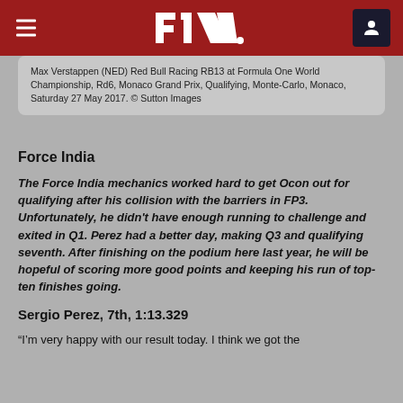F1 Logo navigation header
Max Verstappen (NED) Red Bull Racing RB13 at Formula One World Championship, Rd6, Monaco Grand Prix, Qualifying, Monte-Carlo, Monaco, Saturday 27 May 2017. © Sutton Images
Force India
The Force India mechanics worked hard to get Ocon out for qualifying after his collision with the barriers in FP3. Unfortunately, he didn't have enough running to challenge and exited in Q1. Perez had a better day, making Q3 and qualifying seventh. After finishing on the podium here last year, he will be hopeful of scoring more good points and keeping his run of top-ten finishes going.
Sergio Perez, 7th, 1:13.329
“I’m very happy with our result today. I think we got the